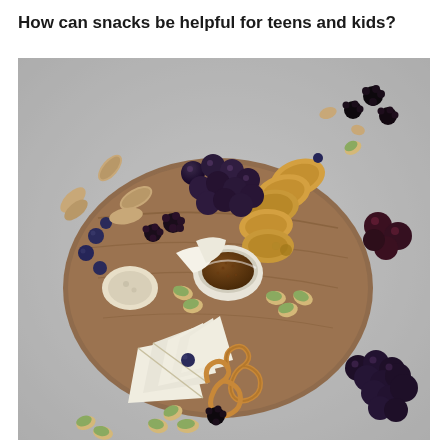How can snacks be helpful for teens and kids?
[Figure (photo): Overhead view of a charcuterie-style snack board on a gray concrete surface, featuring dark grapes, blackberries, blueberries, almonds, pistachios, sliced baguette toasts, soft white cheese wedges, a small white bowl of brown jam/preserve, pretzels, and scattered nuts and berries around the wooden board.]